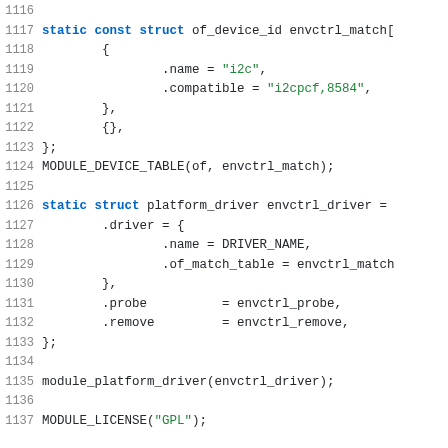[Figure (screenshot): Source code listing showing C code for Linux kernel driver, lines 1116-1137, with syntax highlighting. Blue bold keywords, green strings, black identifiers on white background.]